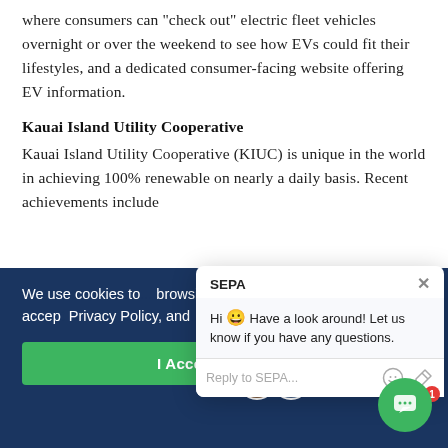where consumers can "check out" electric fleet vehicles overnight or over the weekend to see how EVs could fit their lifestyles, and a dedicated consumer-facing website offering EV information.
Kauai Island Utility Cooperative
Kauai Island Utility Cooperative (KIUC) is unique in the world in achieving 100% renewable on nearly a daily basis. Recent achievements include
We use cookies to... browsing experience... our site, you accept... Privacy Policy, and...
[Figure (screenshot): SEPA chat popup widget with greeting message 'Hi 😀 Have a look around! Let us know if you have any questions.' and a reply input field]
I Accept
former plantation reservoirs, and the accompanying ditch